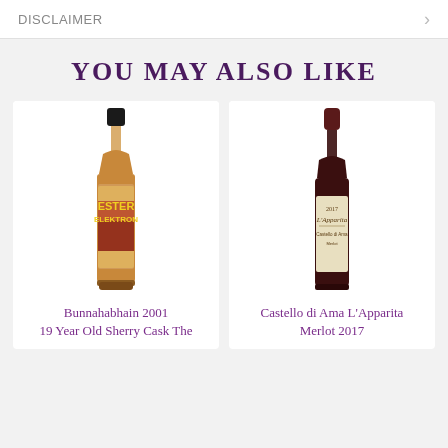DISCLAIMER
YOU MAY ALSO LIKE
[Figure (photo): Bottle of Bunnahabhain 2001 19 Year Old Sherry Cask whisky with colorful Ester Elektron label]
Bunnahabhain 2001
19 Year Old Sherry Cask The
[Figure (photo): Bottle of Castello di Ama L'Apparita Merlot 2017 red wine with cream-colored label]
Castello di Ama L'Apparita
Merlot 2017